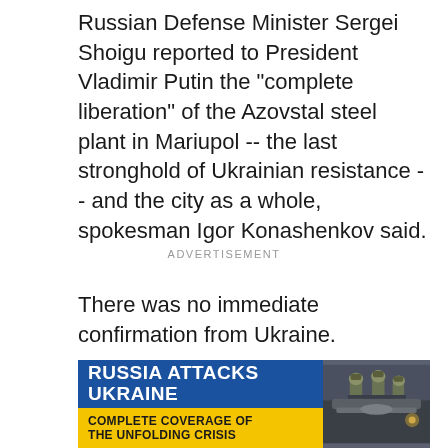Russian Defense Minister Sergei Shoigu reported to President Vladimir Putin the "complete liberation" of the Azovstal steel plant in Mariupol -- the last stronghold of Ukrainian resistance -- and the city as a whole, spokesman Igor Konashenkov said.
ADVERTISEMENT
There was no immediate confirmation from Ukraine.
[Figure (infographic): News promo box with blue panel reading 'RUSSIA ATTACKS UKRAINE' and yellow panel reading 'COMPLETE COVERAGE OF THE UNFOLDING CRISIS', with a photo of soldiers in military gear on armored vehicle on the right.]